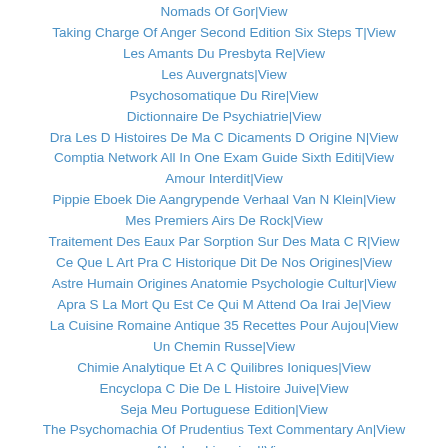Nomads Of Gor|View
Taking Charge Of Anger Second Edition Six Steps T|View
Les Amants Du Presbyta Re|View
Les Auvergnats|View
Psychosomatique Du Rire|View
Dictionnaire De Psychiatrie|View
Dra Les D Histoires De Ma C Dicaments D Origine N|View
Comptia Network All In One Exam Guide Sixth Editi|View
Amour Interdit|View
Pippie Eboek Die Aangrypende Verhaal Van N Klein|View
Mes Premiers Airs De Rock|View
Traitement Des Eaux Par Sorption Sur Des Mata C R|View
Ce Que L Art Pra C Historique Dit De Nos Origines|View
Astre Humain Origines Anatomie Psychologie Cultur|View
Apra S La Mort Qu Est Ce Qui M Attend Oa Irai Je|View
La Cuisine Romaine Antique 35 Recettes Pour Aujou|View
Un Chemin Russe|View
Chimie Analytique Et A C Quilibres Ioniques|View
Encyclopa C Die De L Histoire Juive|View
Seja Meu Portuguese Edition|View
The Psychomachia Of Prudentius Text Commentary An|View
Algebre Lineaire I|View
Cap Horn A La Voile|View